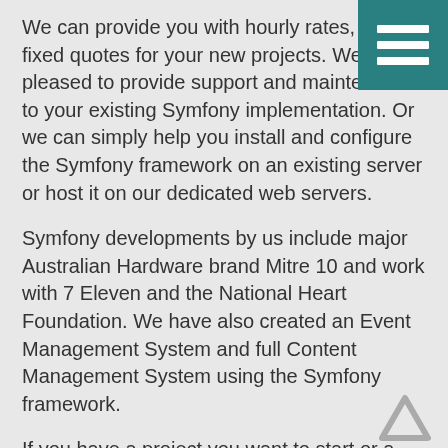We can provide you with hourly rates, daily fixed quotes for your new projects. We are pleased to provide support and maintenance to your existing Symfony implementation. Or we can simply help you install and configure the Symfony framework on an existing server or host it on our dedicated web servers.
Symfony developments by us include major Australian Hardware brand Mitre 10 and work with 7 Eleven and the National Heart Foundation. We have also created an Event Management System and full Content Management System using the Symfony framework.
If you have a project you want to start or a pre-existing PHP Development/Framework site you need a hand in, please don’t hesitate to contact us for a quote.